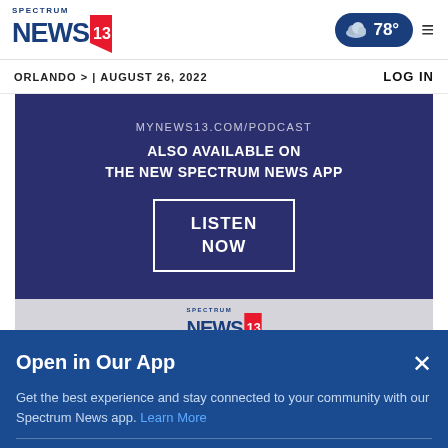[Figure (logo): Spectrum News 13 logo with flag icon]
[Figure (infographic): Weather pill showing partly cloudy icon and 78 degrees temperature, plus hamburger menu icon]
ORLANDO > | AUGUST 26, 2022
LOG IN
[Figure (screenshot): Dark blue ad banner: MYNEWS13.COM/PODCAST - ALSO AVAILABLE ON THE NEW SPECTRUM NEWS APP - LISTEN NOW button]
[Figure (screenshot): Gray banner strip with Spectrum News 13 logo]
Open in Our App
Get the best experience and stay connected to your community with our Spectrum News app. Learn More
Open in Spectrum News App
Continue in Browser